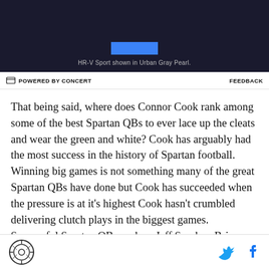[Figure (other): Advertisement banner showing HR-V Sport vehicle promotion with blue button and text 'HR-V Sport shown in Urban Gray Pearl.']
⚡ POWERED BY CONCERT   FEEDBACK
That being said, where does Connor Cook rank among some of the best Spartan QBs to ever lace up the cleats and wear the green and white? Cook has arguably had the most success in the history of Spartan football. Winning big games is not something many of the great Spartan QBs have done but Cook has succeeded when the pressure is at it's highest Cook hasn't crumbled delivering clutch plays in the biggest games. Successful Spartan QBs such as Jeff Smoker, Brian Hoyer, and Drew Stanton put up big
SB Nation logo | Twitter icon | Facebook icon